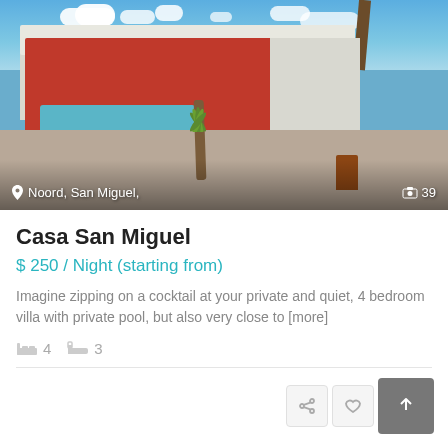[Figure (photo): Exterior photo of Casa San Miguel villa showing a pink/red house with a private swimming pool, palm trees, and patio area. Location overlay reads 'Noord, San Miguel,' and photo count shows 39.]
Casa San Miguel
$ 250 / Night (starting from)
Imagine zipping on a cocktail at your private and quiet, 4 bedroom villa with private pool, but also very close to [more]
4  3